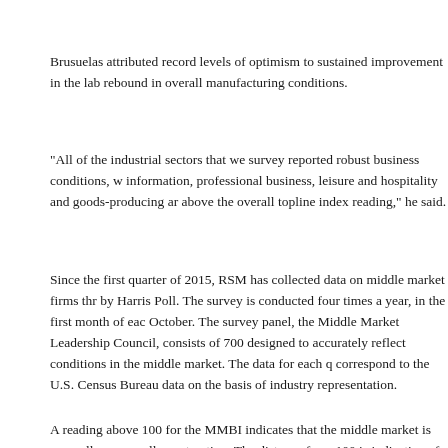Brusuelas attributed record levels of optimism to sustained improvement in the lab rebound in overall manufacturing conditions.
"All of the industrial sectors that we survey reported robust business conditions, w information, professional business, leisure and hospitality and goods-producing ar above the overall topline index reading," he said.
Since the first quarter of 2015, RSM has collected data on middle market firms thr by Harris Poll. The survey is conducted four times a year, in the first month of eac October. The survey panel, the Middle Market Leadership Council, consists of 700 designed to accurately reflect conditions in the middle market. The data for each q correspond to the U.S. Census Bureau data on the basis of industry representation.
A reading above 100 for the MMBI indicates that the middle market is generally e generally contracting. The distance from 100 is indicative of the strength of the ex the middle market as nonfinancial or financial services firms with annual revenues
The MMBI, developed in collaboration with Moody’s Analytics, is borne out of th ask respondents to report the change in a variety of indicators. Read the report in i